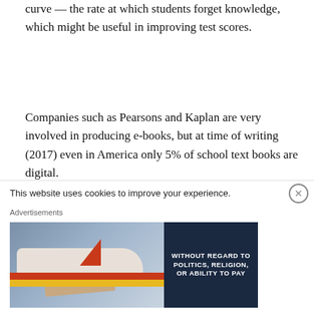curve — the rate at which students forget knowledge, which might be useful in improving test scores.
Companies such as Pearsons and Kaplan are very involved in producing e-books, but at time of writing (2017) even in America only 5% of school text books are digital.
Individualisation
In schools, the education which we are exposed
This website uses cookies to improve your experience.
Advertisements
[Figure (photo): Advertisement banner showing an airplane being loaded with cargo, with a dark blue overlay section on the right reading 'WITHOUT REGARD TO POLITICS, RELIGION, OR ABILITY TO PAY']